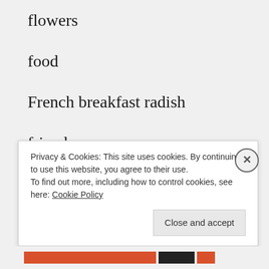flowers
food
French breakfast radish
friends
fun
garlic
green cabbage
green garlic
Privacy & Cookies: This site uses cookies. By continuing to use this website, you agree to their use.
To find out more, including how to control cookies, see here: Cookie Policy